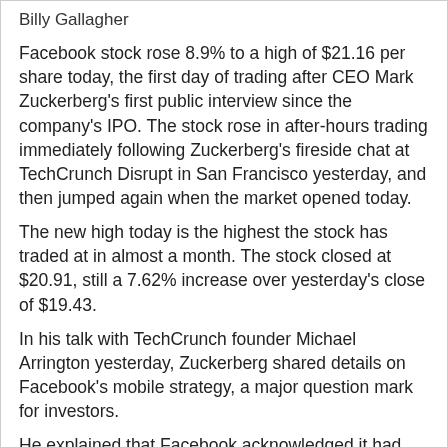Billy Gallagher
Facebook stock rose 8.9% to a high of $21.16 per share today, the first day of trading after CEO Mark Zuckerberg's first public interview since the company's IPO. The stock rose in after-hours trading immediately following Zuckerberg's fireside chat at TechCrunch Disrupt in San Francisco yesterday, and then jumped again when the market opened today.
The new high today is the highest the stock has traded at in almost a month. The stock closed at $20.91, still a 7.62% increase over yesterday's close of $19.43.
In his talk with TechCrunch founder Michael Arrington yesterday, Zuckerberg shared details on Facebook's mobile strategy, a major question mark for investors.
He explained that Facebook acknowledged it had misjudged HTML5 and refocused on its own apps. The social network saw users' consumption of news feed stories double following the launch of its new iOS app. That's a simple but astounding statistic. Double the content consumed. Double the advertising opportunity.[source:techcrunch]